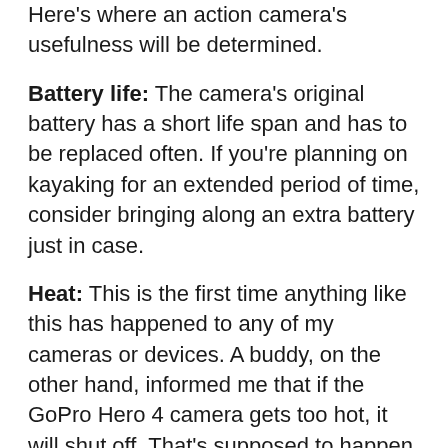Here's where an action camera's usefulness will be determined.
Battery life: The camera's original battery has a short life span and has to be replaced often. If you're planning on kayaking for an extended period of time, consider bringing along an extra battery just in case.
Heat: This is the first time anything like this has happened to any of my cameras or devices. A buddy, on the other hand, informed me that if the GoPro Hero 4 camera gets too hot, it will shut off. That's supposed to happen only on very hot days when the camera is exposed to direct sunlight for an extended length of time.